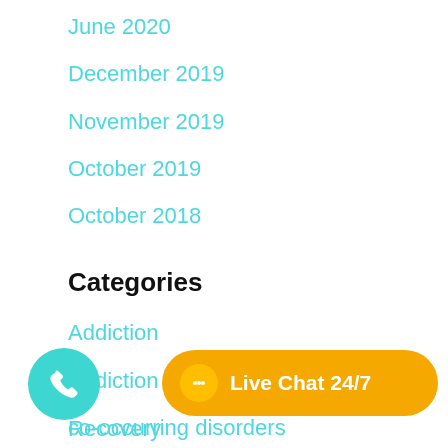June 2020
December 2019
November 2019
October 2019
October 2018
Categories
Addiction
Addiction Treatment
co-occurring disorders
Recovery